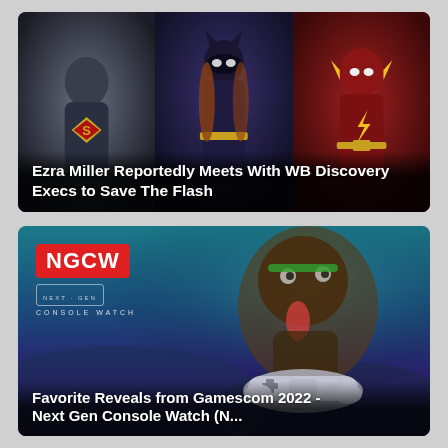[Figure (photo): Three DC superhero characters side by side: Superman (Tyler Hoechlin) on the left in blue suit, Batgirl in the middle in blue costume and mask, The Flash (Grant Gustin) on the right in red suit]
Ezra Miller Reportedly Meets With WB Discovery Execs to Save The Flash
[Figure (photo): NGCW (Next-Gen Console Watch) branded image with a creature/character and PS5 controller, blue-purple gaming themed background]
Favorite Reveals from Gamescom 2022 - Next Gen Console Watch (N...